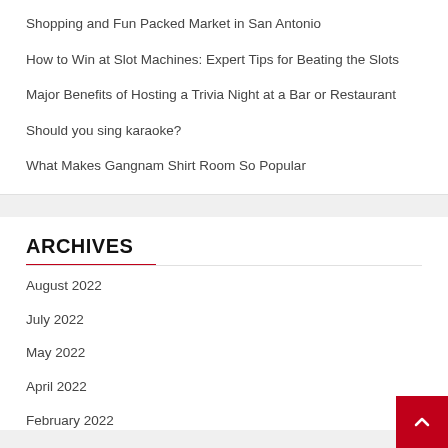Shopping and Fun Packed Market in San Antonio
How to Win at Slot Machines: Expert Tips for Beating the Slots
Major Benefits of Hosting a Trivia Night at a Bar or Restaurant
Should you sing karaoke?
What Makes Gangnam Shirt Room So Popular
ARCHIVES
August 2022
July 2022
May 2022
April 2022
February 2022